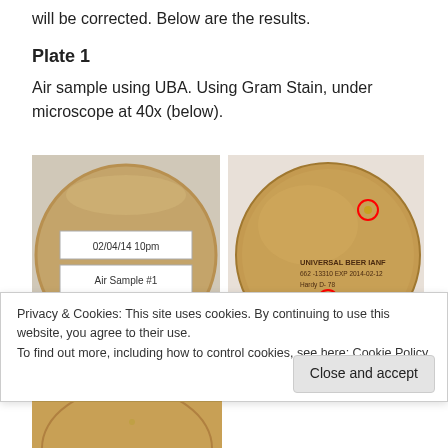will be corrected. Below are the results.
Plate 1
Air sample using UBA. Using Gram Stain, under microscope at 40x (below).
[Figure (photo): Two petri dishes side by side. Left dish has white label reading '02/04/14 10pm' and 'Air Sample #1' on an amber agar plate. Right dish shows amber agar plate with two red-circled colonies and text 'UNIVERSAL BEER IANF 662-13310 EXP 2014-02-12 Hardy D- 78'.]
Privacy & Cookies: This site uses cookies. By continuing to use this website, you agree to their use.
To find out more, including how to control cookies, see here: Cookie Policy
Close and accept
[Figure (photo): Bottom portion of a petri dish photo showing edge of amber agar plate, partially visible.]